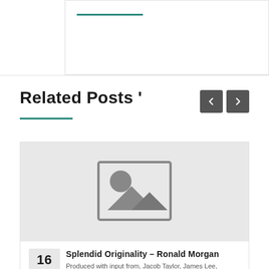[Figure (illustration): Top section with a teal horizontal line and bordered box area, partial view of previous content]
Related Posts '
[Figure (illustration): Post card with image placeholder (camera/landscape icon on grey background), date box showing 16, and navigation arrows]
Splendid Originality – Ronald Morgan
Produced with input from, Jacob Taylor, James Lee,